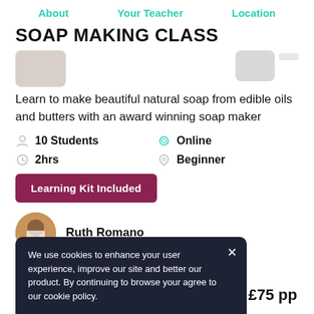About   Your Teacher   Location
SOAP MAKING CLASS
Learn to make beautiful natural soap from edible oils and butters with an award winning soap maker
10 Students
Online
2hrs
Beginner
Learning Kit Included
Ruth Romano
We use cookies to enhance your user experience, improve our site and better our product. By continuing to browse your agree to our cookie policy.
£75 pp